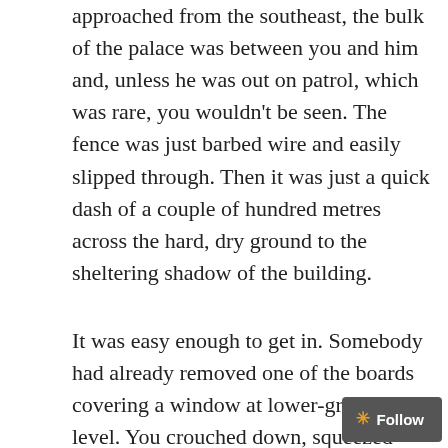approached from the southeast, the bulk of the palace was between you and him and, unless he was out on patrol, which was rare, you wouldn't be seen. The fence was just barbed wire and easily slipped through. Then it was just a quick dash of a couple of hundred metres across the hard, dry ground to the sheltering shadow of the building.

It was easy enough to get in. Somebody had already removed one of the boards covering a window at lower-ground level. You crouched down, squeezed through and dropped. That was scary – it was a short drop but you landed in the pitch black. We